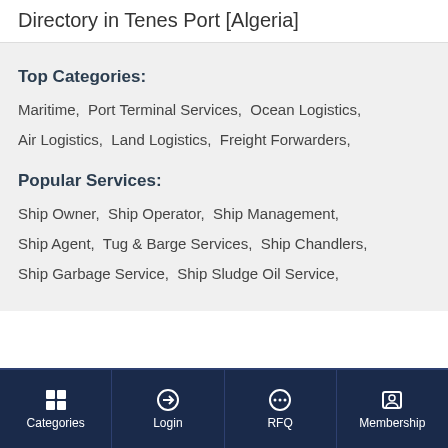Directory in Tenes Port [Algeria]
Top Categories:
Maritime,  Port Terminal Services,  Ocean Logistics,  Air Logistics,  Land Logistics,  Freight Forwarders,
Popular Services:
Ship Owner,  Ship Operator,  Ship Management,  Ship Agent,  Tug & Barge Services,  Ship Chandlers,  Ship Garbage Service,  Ship Sludge Oil Service,
Categories  Login  RFQ  Membership